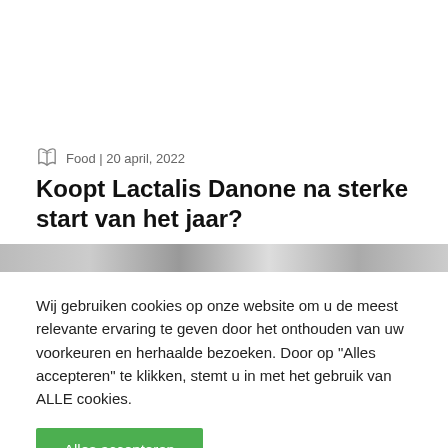Food | 20 april, 2022
Koopt Lactalis Danone na sterke start van het jaar?
[Figure (photo): Partial image strip visible at bottom of article header area]
Wij gebruiken cookies op onze website om u de meest relevante ervaring te geven door het onthouden van uw voorkeuren en herhaalde bezoeken. Door op "Alles accepteren" te klikken, stemt u in met het gebruik van ALLE cookies.
Alles accepteren